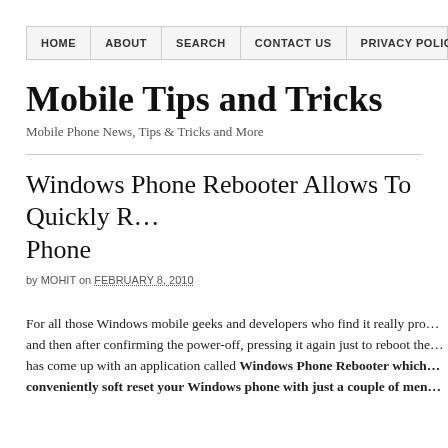HOME | ABOUT | SEARCH | CONTACT US | PRIVACY POLIC…
Mobile Tips and Tricks
Mobile Phone News, Tips & Tricks and More
Windows Phone Rebooter Allows To Quickly R… Phone
by MOHIT on FEBRUARY 8, 2010
For all those Windows mobile geeks and developers who find it really pro… and then after confirming the power-off, pressing it again just to reboot the… has come up with an application called Windows Phone Rebooter which… conveniently soft reset your Windows phone with just a couple of men…